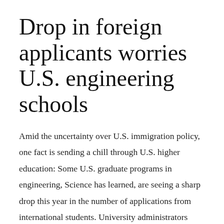Drop in foreign applicants worries U.S. engineering schools
Amid the uncertainty over U.S. immigration policy, one fact is sending a chill through U.S. higher education: Some U.S. graduate programs in engineering, Science has learned, are seeing a sharp drop this year in the number of applications from international students. University administrators worry that the declines, as much as 30% from 2016 levels in some programs, reflect heightened fears among foreign-born students that the United States is tightening its borders. A continued downturn